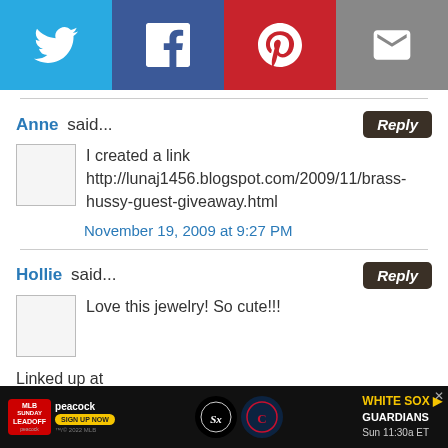[Figure (infographic): Social media share bar with Twitter (blue), Facebook (dark blue), Pinterest (red), and Email (gray) buttons with white icons]
Anne said...
I created a link http://lunaj1456.blogspot.com/2009/11/brass-hussy-guest-giveaway.html
November 19, 2009 at 9:27 PM
Hollie said...
Love this jewelry! So cute!!!

Linked up at http://hollsspace.blogspot.com/2009/11/brass-hussy-guest-giveaway_19.html
[Figure (infographic): Advertisement bar for MLB Sunday Leadoff on Peacock featuring White Sox vs Guardians, Sun 11:30a ET]